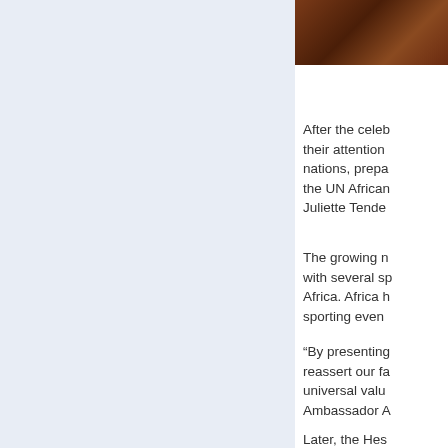[Figure (photo): Partial photo of a person, cropped at top right of page]
After the celeb their attention nations, prepa the UN African Juliette Tende
The growing n with several sp Africa. Africa h sporting even
“By presenting reassert our fa universal valu Ambassador A
Later, the Hes water, purifyin